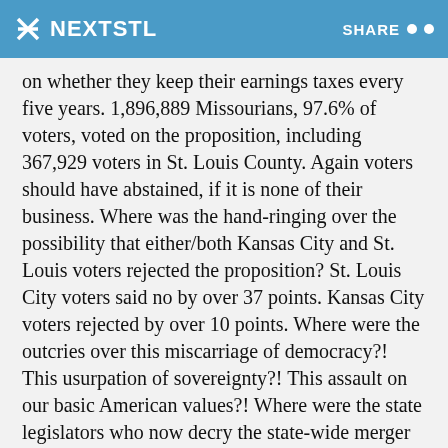NEXTSTL   SHARE
on whether they keep their earnings taxes every five years. 1,896,889 Missourians, 97.6% of voters, voted on the proposition, including 367,929 voters in St. Louis County. Again voters should have abstained, if it is none of their business. Where was the hand-ringing over the possibility that either/both Kansas City and St. Louis voters rejected the proposition? St. Louis City voters said no by over 37 points. Kansas City voters rejected by over 10 points. Where were the outcries over this miscarriage of democracy?! This usurpation of sovereignty?! This assault on our basic American values?! Where were the state legislators who now decry the state-wide merger vote then? They could have passed a bill to modify the proposition